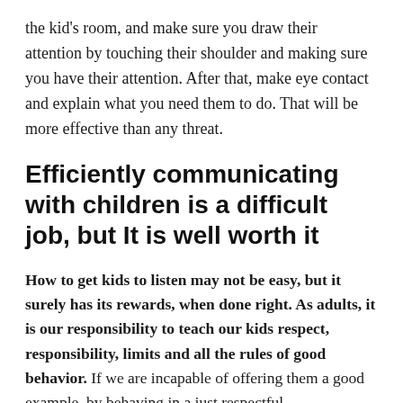the kid's room, and make sure you draw their attention by touching their shoulder and making sure you have their attention. After that, make eye contact and explain what you need them to do. That will be more effective than any threat.
Efficiently communicating with children is a difficult job, but It is well worth it
How to get kids to listen may not be easy, but it surely has its rewards, when done right. As adults, it is our responsibility to teach our kids respect, responsibility, limits and all the rules of good behavior. If we are incapable of offering them a good example, by behaving in a just respectful